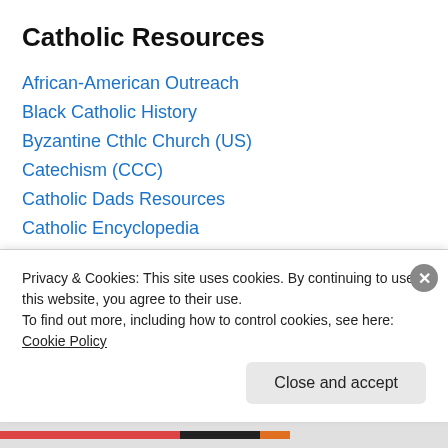Catholic Resources
African-American Outreach
Black Catholic History
Byzantine Cthlc Church (US)
Catechism (CCC)
Catholic Dads Resources
Catholic Encyclopedia
Catholic Free Shipping
Catholic Liturgical Library
Catholic Search Engine
Catholic Social Doctrine
Catholic Social Teaching
Privacy & Cookies: This site uses cookies. By continuing to use this website, you agree to their use.
To find out more, including how to control cookies, see here: Cookie Policy
Close and accept